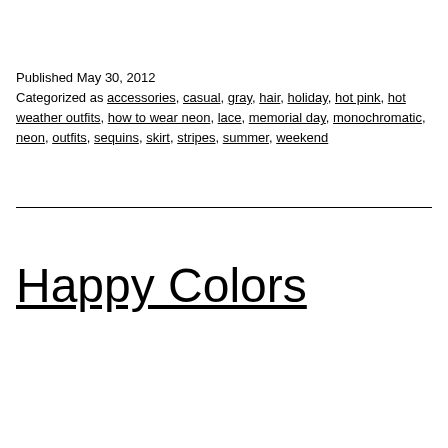Published May 30, 2012
Categorized as accessories, casual, gray, hair, holiday, hot pink, hot weather outfits, how to wear neon, lace, memorial day, monochromatic, neon, outfits, sequins, skirt, stripes, summer, weekend
Happy Colors